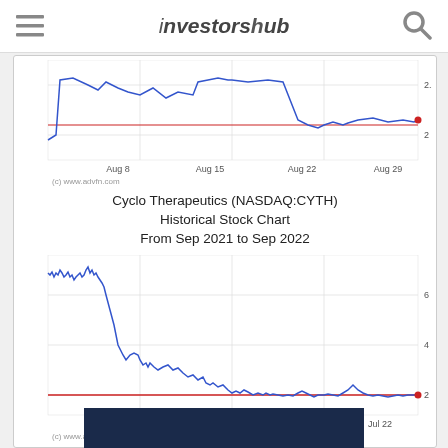investorshub
[Figure (continuous-plot): Cyclo Therapeutics (NASDAQ:CYTH) stock price chart from late July to early Sep 2022, showing price range ~2.0 to ~2.2, with blue line chart and red horizontal reference line. X-axis labels: Aug 8, Aug 15, Aug 22, Aug 29. Y-axis: 2, 2.2.]
(c) www.advfn.com
Cyclo Therapeutics (NASDAQ:CYTH) Historical Stock Chart From Sep 2021 to Sep 2022
[Figure (continuous-plot): Cyclo Therapeutics (NASDAQ:CYTH) historical stock chart from Sep 2021 to Sep 2022. Blue line showing decline from ~7 to ~2, with red horizontal reference line near 2. X-axis labels: Nov 21, Jan 22, May 22, Jul 22. Y-axis: 2, 4, 6.]
(c) www.advfn.com